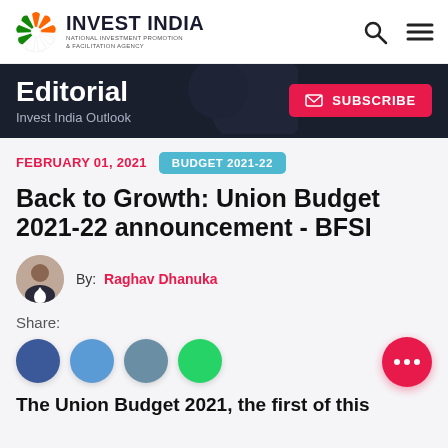INVEST INDIA — NATIONAL INVESTMENT PROMOTION & FACILITATION AGENCY
Editorial
Invest India Outlook
FEBRUARY 01, 2021   BUDGET 2021-22
Back to Growth: Union Budget 2021-22 announcement - BFSI
By: Raghav Dhanuka
Share:
The Union Budget 2021, the first of this